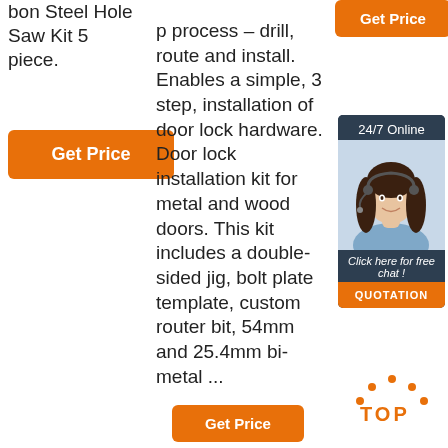bon Steel Hole Saw Kit 5 piece.
[Figure (other): Orange 'Get Price' button on left column]
p process – drill, route and install. Enables a simple, 3 step, installation of door lock hardware. Door lock installation kit for metal and wood doors. This kit includes a double-sided jig, bolt plate template, custom router bit, 54mm and 25.4mm bi-metal ...
[Figure (other): Orange 'Get Price' button on right column top]
[Figure (other): 24/7 Online chat box with woman wearing headset, Click here for free chat!, QUOTATION button]
[Figure (other): TOP logo with orange dots above and TOP text]
[Figure (other): Orange button at bottom center]